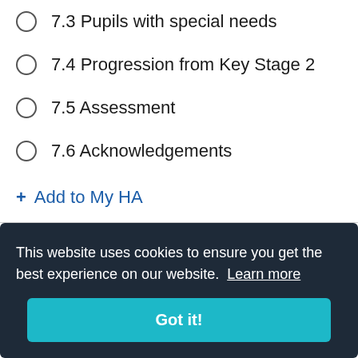7.3 Pupils with special needs
7.4 Progression from Key Stage 2
7.5 Assessment
7.6 Acknowledgements
+ Add to My HA
This website uses cookies to ensure you get the best experience on our website. Learn more
Got it!